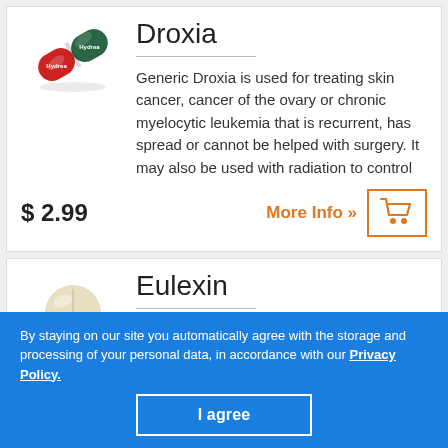Droxia
Generic Droxia is used for treating skin cancer, cancer of the ovary or chronic myelocytic leukemia that is recurrent, has spread or cannot be helped with surgery. It may also be used with radiation to control
$ 2.99
More Info »
Eulexin
Generic Eulexin is an antiandrogen. It
By staying on our site you automatically agree with the storage and processing of your personal data, in accordance with our Privacy Policy.
I agree